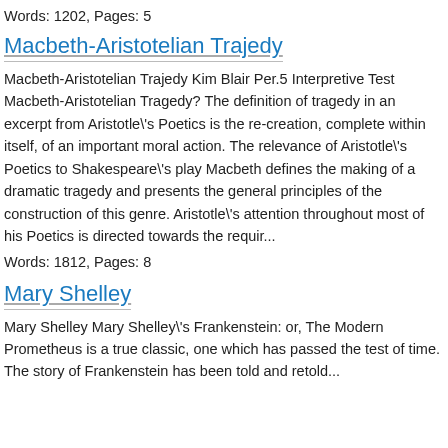Words: 1202, Pages: 5
Macbeth-Aristotelian Trajedy
Macbeth-Aristotelian Trajedy Kim Blair Per.5 Interpretive Test Macbeth-Aristotelian Tragedy? The definition of tragedy in an excerpt from Aristotle\'s Poetics is the re-creation, complete within itself, of an important moral action. The relevance of Aristotle\'s Poetics to Shakespeare\'s play Macbeth defines the making of a dramatic tragedy and presents the general principles of the construction of this genre. Aristotle\'s attention throughout most of his Poetics is directed towards the requir...
Words: 1812, Pages: 8
Mary Shelley
Mary Shelley Mary Shelley\'s Frankenstein: or, The Modern Prometheus is a true classic, one which has passed the test of time. The story of Frankenstein has been told and retold...